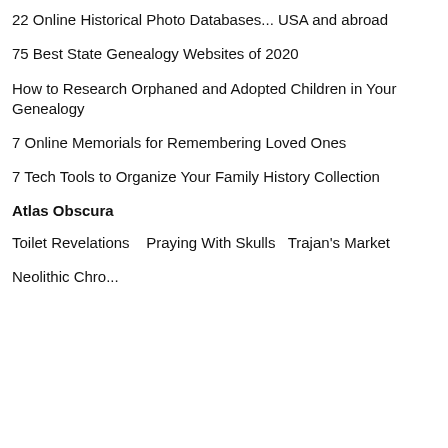22 Online Historical Photo Databases... USA and abroad
75 Best State Genealogy Websites of 2020
How to Research Orphaned and Adopted Children in Your Genealogy
7 Online Memorials for Remembering Loved Ones
7 Tech Tools to Organize Your Family History Collection
Atlas Obscura
Toilet Revelations   Praying With Skulls  Trajan's Market
Neolithic Chro... (truncated)